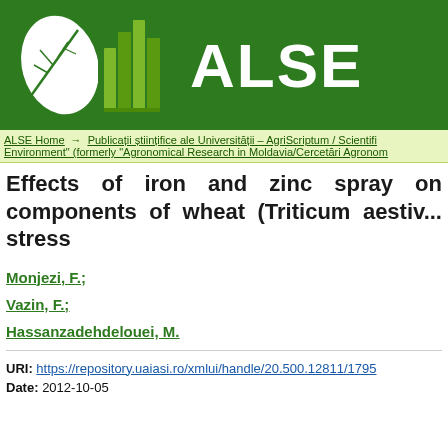[Figure (logo): ALSE repository logo with green background, white leaf graphic, green book icons, and white text 'ALSE']
ALSE Home → Publicații științifice ale Universității – AgriScriptum / Scientific Environment" (formerly "Agronomical Research in Moldavia/Cercetări Agronom...
Effects of iron and zinc spray on components of wheat (Triticum aestiv... stress
Monjezi, F.;
Vazin, F.;
Hassanzadehdelouei, M.
URI: https://repository.uaiasi.ro/xmlui/handle/20.500.12811/1795
Date: 2012-10-05